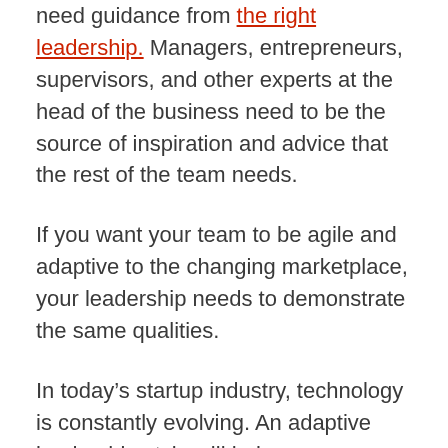need guidance from the right leadership. Managers, entrepreneurs, supervisors, and other experts at the head of the business need to be the source of inspiration and advice that the rest of the team needs.
If you want your team to be agile and adaptive to the changing marketplace, your leadership needs to demonstrate the same qualities.
In today’s startup industry, technology is constantly evolving. An adaptive leadership style will help your business to respond to the differences in trends and expectations in your industry as they transform.
Leaders need to be ready to make decisions fast and pivot when necessary.
We are already witnessing the transformation of